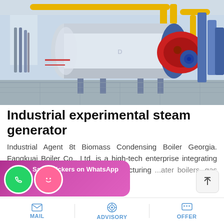[Figure (photo): Industrial experimental steam generator / boiler in a facility. A large horizontal cylindrical white boiler with blue accents and a red burner component on the right. Yellow pipes visible overhead and blue structural elements on the right. The boiler sits on metal supports in an industrial room with blue walls.]
Industrial experimental steam generator
Industrial Agent 8t Biomass Condensing Boiler Georgia. Fangkuai Boiler Co., Ltd. is a high-tech enterprise integrating research and development, manufacturing ...ater boilers, gas steam boilers, ...
[Figure (screenshot): WhatsApp promotional popup banner with text 'Save Stickers on WhatsApp', a green phone icon and a pink sticker icon.]
MAIL   ADVISORY   OFFER